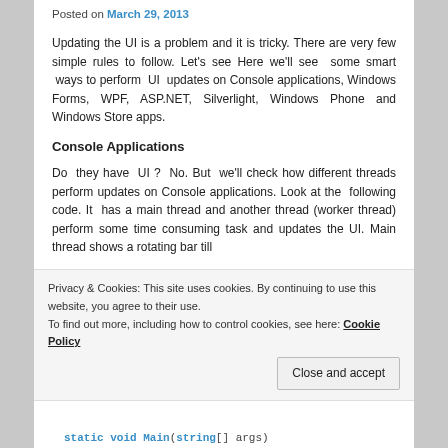Posted on March 29, 2013
Updating the UI is a problem and it is tricky. There are very few simple rules to follow. Let's see Here we'll see some smart ways to perform UI updates on Console applications, Windows Forms, WPF, ASP.NET, Silverlight, Windows Phone and Windows Store apps.
Console Applications
Do they have UI ? No. But we'll check how different threads perform updates on Console applications. Look at the following code. It has a main thread and another thread (worker thread) perform some time consuming task and updates the UI. Main thread shows a rotating bar till
Privacy & Cookies: This site uses cookies. By continuing to use this website, you agree to their use.
To find out more, including how to control cookies, see here: Cookie Policy
Close and accept
static void Main(string[] args)